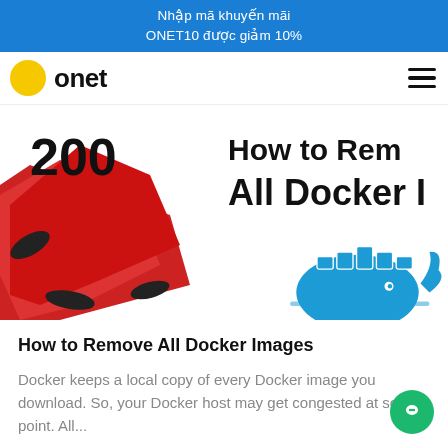Nhập mã khuyến mãi ONET10 được giảm 10%
[Figure (logo): Onet logo with yellow circle and bold 'onet' text]
[Figure (screenshot): Article thumbnail image showing 'How to Remove All Docker Images' with Docker whale logo and red graphic]
How to Remove All Docker Images
Docker keeps a local copy of every Docker image you download. So, your Docker host may get congested at some point. All...